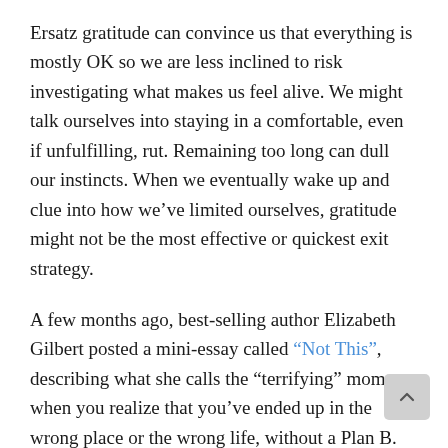Ersatz gratitude can convince us that everything is mostly OK so we are less inclined to risk investigating what makes us feel alive. We might talk ourselves into staying in a comfortable, even if unfulfilling, rut. Remaining too long can dull our instincts. When we eventually wake up and clue into how we’ve limited ourselves, gratitude might not be the most effective or quickest exit strategy.

A few months ago, best-selling author Elizabeth Gilbert posted a mini-essay called “Not This”, describing what she calls the “terrifying” moment when you realize that you’ve ended up in the wrong place or the wrong life, without a Plan B. I’ve been in that situation more than once. I have left jobs without a new one lined